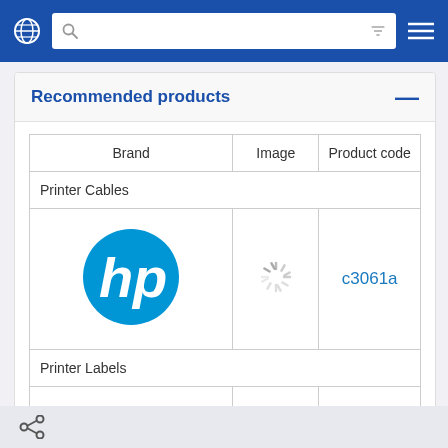Navigation bar with globe icon, search box, filter icon, and menu icon
Recommended products
| Brand | Image | Product code |
| --- | --- | --- |
| Printer Cables |  |  |
| [HP logo] | [loading spinner] | c3061a |
| Printer Labels |  |  |
|  |  |  |
[share icon]